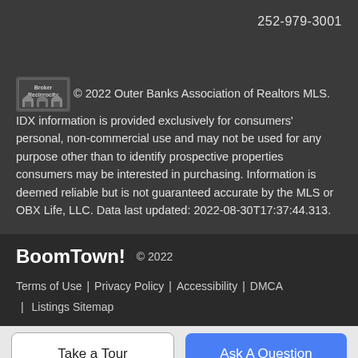252-979-3001
© 2022 Outer Banks Association of Realtors MLS. IDX information is provided exclusively for consumers' personal, non-commercial use and may not be used for any purpose other than to identify prospective properties consumers may be interested in purchasing. Information is deemed reliable but is not guaranteed accurate by the MLS or OBX Life, LLC. Data last updated: 2022-08-30T17:37:44.313.
BoomTown! © 2022
Terms of Use | Privacy Policy | Accessibility | DMCA | Listings Sitemap
Take a Tour
Ask A Question